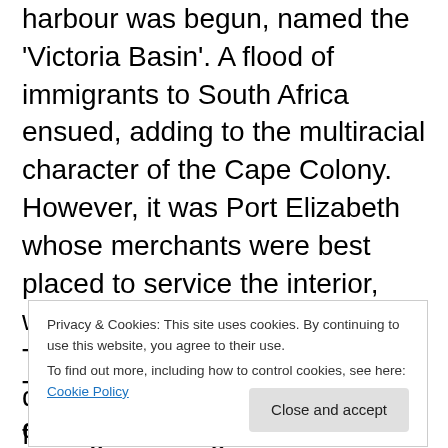harbour was begun, named the 'Victoria Basin'. A flood of immigrants to South Africa ensued, adding to the multiracial character of the Cape Colony. However, it was Port Elizabeth whose merchants were best placed to service the interior, with the consequence that Cape Town became increasingly dependent on overseas trade, finding a thriving market for its grain and wine exports. The Victoria and Alfred Basins were finally completed in 1920, and the iconic
Privacy & Cookies: This site uses cookies. By continuing to use this website, you agree to their use.
To find out more, including how to control cookies, see here: Cookie Policy
Town gave way to the dominance of the land-